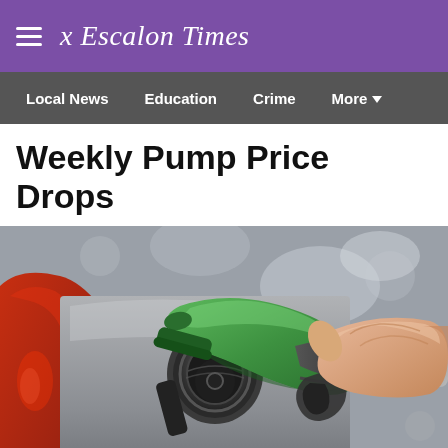☰ The Escalon Times
Local News  Education  Crime  More
Weekly Pump Price Drops
[Figure (photo): Close-up photo of a person's hand inserting a green fuel pump nozzle into the gas tank of a gray car, with a red car visible in the background on the left side.]